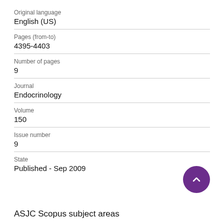Original language
English (US)
Pages (from-to)
4395-4403
Number of pages
9
Journal
Endocrinology
Volume
150
Issue number
9
State
Published - Sep 2009
ASJC Scopus subject areas